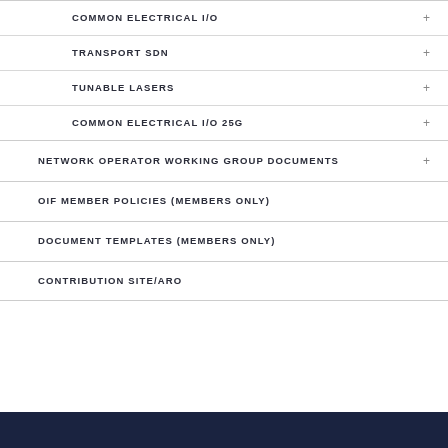COMMON ELECTRICAL I/O
TRANSPORT SDN
TUNABLE LASERS
COMMON ELECTRICAL I/O 25G
NETWORK OPERATOR WORKING GROUP DOCUMENTS
OIF MEMBER POLICIES (MEMBERS ONLY)
DOCUMENT TEMPLATES (MEMBERS ONLY)
CONTRIBUTION SITE/ARO